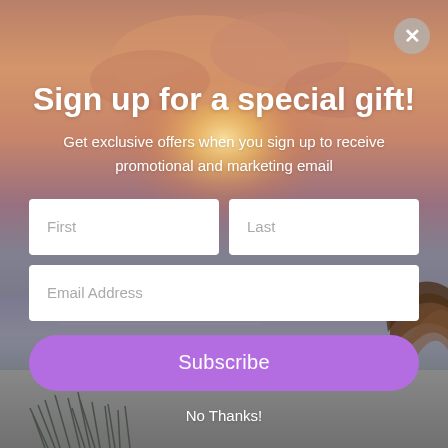[Figure (photo): Beach sunset background with warm orange and purple sky, ocean horizon, beach grass in foreground, and a thatched umbrella on the right side.]
Sign up for a special gift!
Get exclusive offers when you sign up to receive promotional and marketing email
No Thanks!